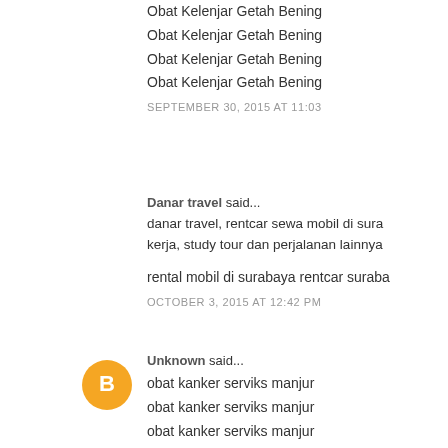Obat Kelenjar Getah Bening
Obat Kelenjar Getah Bening
Obat Kelenjar Getah Bening
Obat Kelenjar Getah Bening
SEPTEMBER 30, 2015 AT 11:03
Danar travel said...
danar travel, rentcar sewa mobil di sura kerja, study tour dan perjalanan lainnya
rental mobil di surabaya rentcar suraba
OCTOBER 3, 2015 AT 12:42 PM
Unknown said...
obat kanker serviks manjur
obat kanker serviks manjur
obat kanker serviks manjur
obat kanker serviks manjur
obat kanker serviks manjur
obat kanker serviks manjur
obat kanker serviks manjur
obat kanker serviks manjur
obat kanker serviks manjur